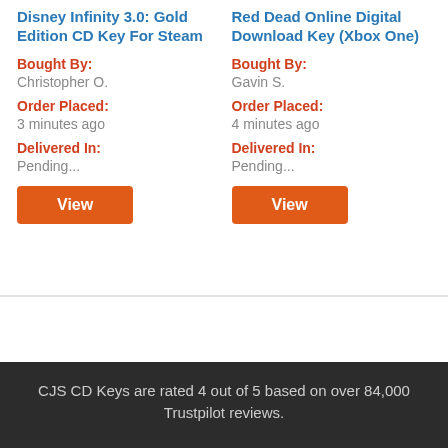Disney Infinity 3.0: Gold Edition CD Key For Steam
Bought By: Christopher O.
Order Placed: 3 minutes ago
Delivered In: Pending...
Red Dead Online Digital Download Key (Xbox One)
Bought By: Gavin S.
Order Placed: 4 minutes ago
Delivered In: Pending...
CJS CD Keys are rated 4 out of 5 based on over 84,000 Trustpilot reviews.